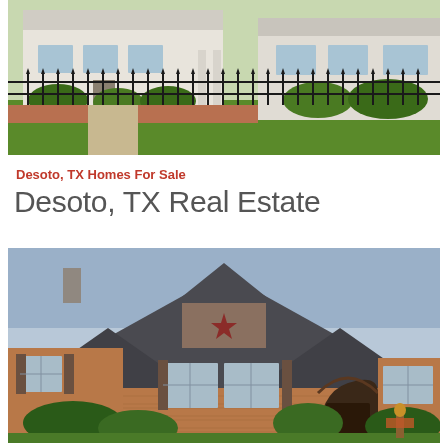[Figure (photo): Exterior photo of a suburban home with a black wrought-iron fence in front, green lawn, and lush garden shrubs. A white house with a porch is visible in the background.]
Desoto, TX Homes For Sale
Desoto, TX Real Estate
[Figure (photo): Exterior photo of a large brick ranch-style home with a dark gray shingled roof featuring a prominent gabled dormer with a decorative metal star. The home has multiple windows with shutters, arched entryway with a dark door, manicured shrubs, and fall decorations near the entrance.]